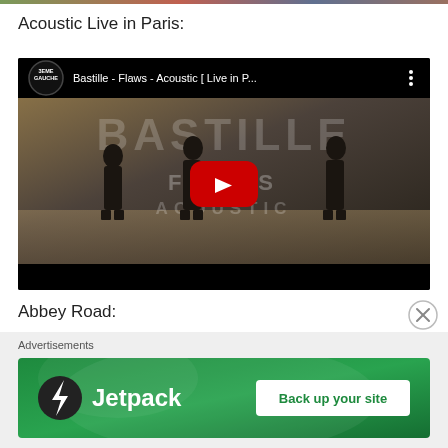[Figure (screenshot): Cropped top portion of an image, partially visible at the top of the page]
Acoustic Live in Paris:
[Figure (screenshot): YouTube video embed showing Bastille - Flaws - Acoustic [ Live in P... with 3eme Gauche channel logo, play button, and dark scene with musicians and BASTILLE FLAWS ACOUSTIC text watermark]
Abbey Road:
Advertisements
[Figure (screenshot): Jetpack advertisement banner with green background showing Jetpack logo and 'Back up your site' button]